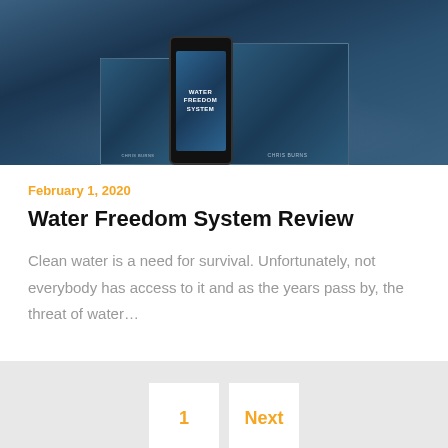[Figure (photo): Water Freedom System product image showing books and a phone with water ripple background]
February 1, 2020
Water Freedom System Review
Clean water is a need for survival. Unfortunately, not everybody has access to it and as the years pass by, the threat of water…
1
Next
Search ...
Search